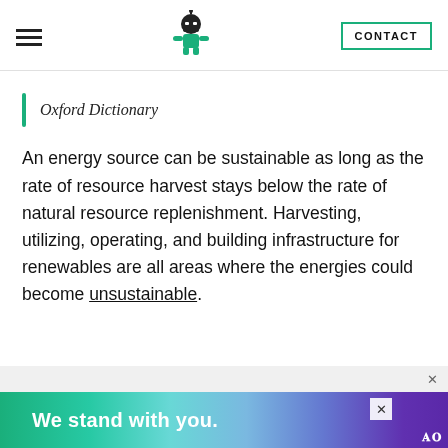Oxford Dictionary
Oxford Dictionary
An energy source can be sustainable as long as the rate of resource harvest stays below the rate of natural resource replenishment. Harvesting, utilizing, operating, and building infrastructure for renewables are all areas where the energies could become unsustainable.
[Figure (illustration): Advertisement banner: colorful gradient background with text 'We stand with you.' and close buttons]